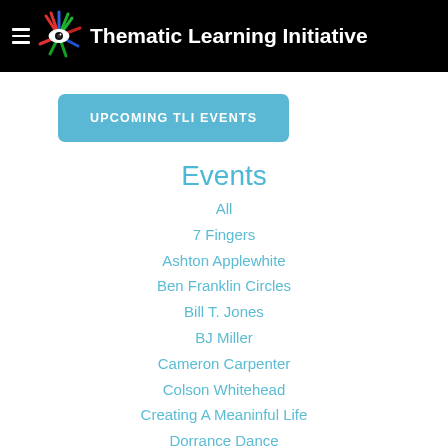Thematic Learning Initiative
UPCOMING TLI EVENTS
Events
All
7 Fingers
Ashton Applewhite
Ben Franklin Circles
Bill T. Jones
BJ Miller
Cameron Carpenter
Colson Whitehead
Creating A Meaninful Life
Dorrance Dance
Emily Esfahani Smith
Father Gregory Boyle
Francoise Mouly And Anita Kunz